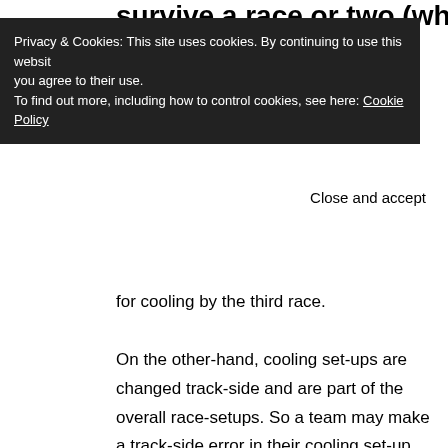survive a race or two (while being
Privacy & Cookies: This site uses cookies. By continuing to use this website, you agree to their use.
To find out more, including how to control cookies, see here: Cookie Policy
Close and accept
for cooling by the third race.

On the other-hand, cooling set-ups are changed track-side and are part of the overall race-setups. So a team may make a track-side error in their cooling set-up, and then have to try to run clear air to just survive a race. We've seen that on occasion this past season. That